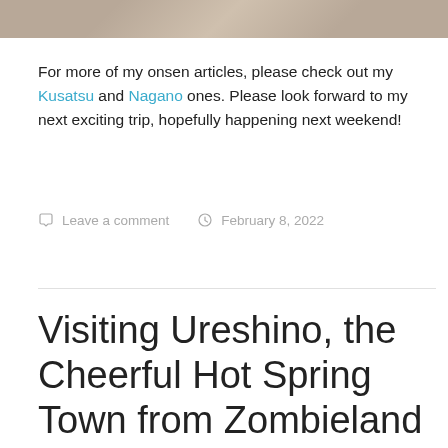[Figure (photo): Top portion of a photo showing a tiled floor or surface, partially visible at the top of the page.]
For more of my onsen articles, please check out my Kusatsu and Nagano ones. Please look forward to my next exciting trip, hopefully happening next weekend!
Leave a comment   February 8, 2022
Visiting Ureshino, the Cheerful Hot Spring Town from Zombieland Saga